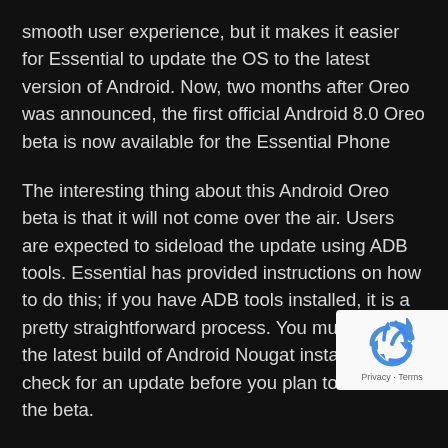smooth user experience, but it makes it easier for Essential to update the OS to the latest version of Android. Now, two months after Oreo was announced, the first official Android 8.0 Oreo beta is now available for the Essential Phone
The interesting thing about this Android Oreo beta is that it will not come over the air. Users are expected to sideload the update using ADB tools. Essential has provided instructions on how to do this; if you have ADB tools installed, it is a pretty straightforward process. You must have the latest build of Android Nougat installed, so check for an update before you plan to sideload the beta.
Since it Android Oreo for the Essential Phone is in the beta stage, there will be bugs. You will need to opt-in and ag the terns before being able to download the beta. It is that there is a battery drain when bluetooth is enabled and
[Figure (logo): reCAPTCHA badge with recycling-style arrows logo and 'Privacy - Terms' text]